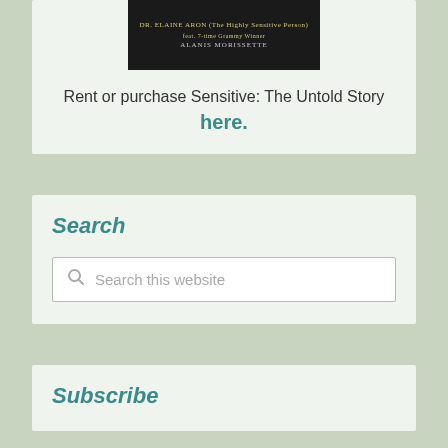[Figure (photo): Movie poster for 'Sensitive: The Untold Story' featuring text on dark background, with mention of DR. ELAINE ARON and ALANIS MORISSETTE]
Rent or purchase Sensitive: The Untold Story here.
Search
Search this website
Subscribe